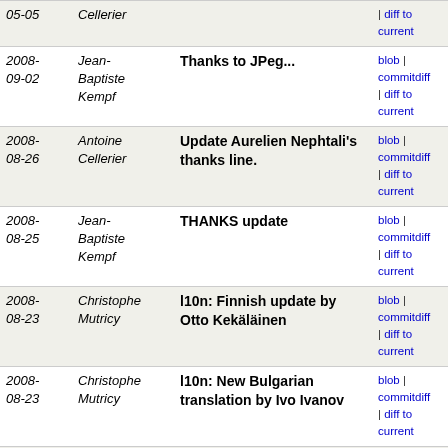| Date | Author | Message | Links |
| --- | --- | --- | --- |
|  | Cellerier |  | | diff to current |
| 2008-09-02 | Jean-Baptiste Kempf | Thanks to JPeg... | blob | commitdiff | diff to current |
| 2008-08-26 | Antoine Cellerier | Update Aurelien Nephtali's thanks line. | blob | commitdiff | diff to current |
| 2008-08-25 | Jean-Baptiste Kempf | THANKS update | blob | commitdiff | diff to current |
| 2008-08-23 | Christophe Mutricy | l10n: Finnish update by Otto Kekäläinen | blob | commitdiff | diff to current |
| 2008-08-23 | Christophe Mutricy | l10n: New Bulgarian translation by Ivo Ivanov | blob | commitdiff | diff to current |
| 2008-08-23 | Antoine Cellerier | Oops. | blob | commitdiff | diff to current |
| 2008-08-23 | Antoine Cellerier | Consistency fixes. | blob | commitdiff | diff to current |
| 2008-08-18 | Christophe Mutricy | Add the turkish translator | blob | commitdiff | diff to current |
| 2008-08-18 | Jean-Baptiste Kempf | Fix a .org/.com confusion. My bad. | blob | commitdiff | diff to current |
| 2008- | Jean- | Thanks helper from the forum. | blob | commitdiff |